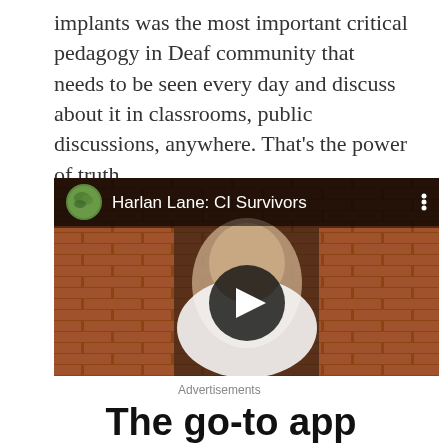implants was the most important critical pedagogy in Deaf community that needs to be seen every day and discuss about it in classrooms, public discussions, anywhere. That's the power of truth.
[Figure (screenshot): YouTube video thumbnail showing a man in a white t-shirt with a tree design, giving thumbs up in front of a brick wall. Video title: 'Harlan Lane: CI Survivors']
Advertisements
The go-to app for podcast